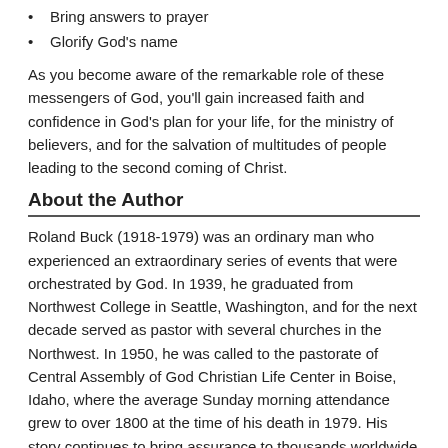Bring answers to prayer
Glorify God's name
As you become aware of the remarkable role of these messengers of God, you'll gain increased faith and confidence in God's plan for your life, for the ministry of believers, and for the salvation of multitudes of people leading to the second coming of Christ.
About the Author
Roland Buck (1918-1979) was an ordinary man who experienced an extraordinary series of events that were orchestrated by God. In 1939, he graduated from Northwest College in Seattle, Washington, and for the next decade served as pastor with several churches in the Northwest. In 1950, he was called to the pastorate of Central Assembly of God Christian Life Center in Boise, Idaho, where the average Sunday morning attendance grew to over 1800 at the time of his death in 1979. His story continues to bring assurance to thousands worldwide as they learn how God has placed angels with them to protect them from the fiery darts of the enemy.
Product Details